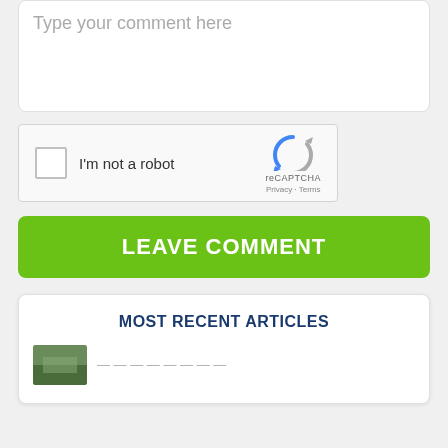Type your comment here
[Figure (screenshot): reCAPTCHA widget with checkbox labeled 'I'm not a robot' and reCAPTCHA logo on the right]
LEAVE COMMENT
MOST RECENT ARTICLES
[Figure (photo): Small thumbnail image of an article, partially visible]